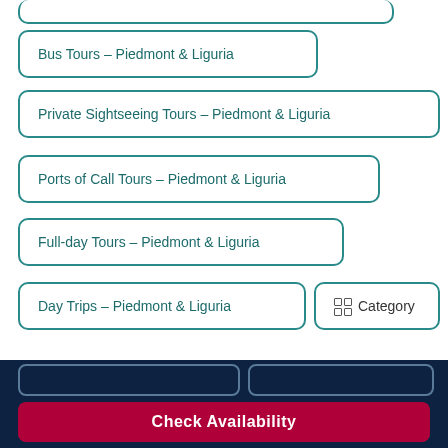Bus Tours - Piedmont & Liguria
Private Sightseeing Tours - Piedmont & Liguria
Ports of Call Tours - Piedmont & Liguria
Full-day Tours - Piedmont & Liguria
Day Trips - Piedmont & Liguria
Category
Why you are seeing these recommendations
Check Availability